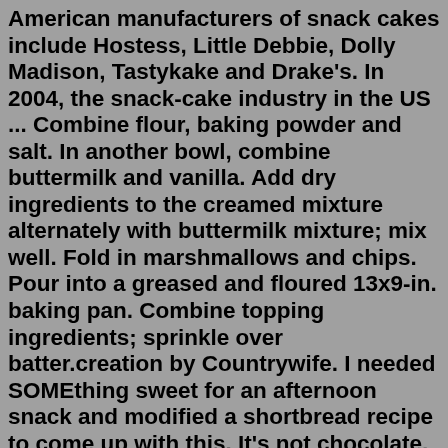American manufacturers of snack cakes include Hostess, Little Debbie, Dolly Madison, Tastykake and Drake's. In 2004, the snack-cake industry in the US ... Combine flour, baking powder and salt. In another bowl, combine buttermilk and vanilla. Add dry ingredients to the creamed mixture alternately with buttermilk mixture; mix well. Fold in marshmallows and chips. Pour into a greased and floured 13x9-in. baking pan. Combine topping ingredients; sprinkle over batter.creation by Countrywife. I needed SOMEthing sweet for an afternoon snack and modified a shortbread recipe to come up with this. It's not chocolate, but I have used vanilla instead of lemon, omitted the peel and added about 1/2 cup chocolate chips because that was the only chocolate in the house. This is a fairly dense, hearty cake.Oct 12, 2012 · Step 4. In the same mixer bowl, add the sugar, honey, water, oil, egg yolks, and vanilla and beat for 1 minute. Add the flour mixture and beat until smooth, about 2 minutes. Fold in half of the ... Snack cakes are baked desserts made with cake and icing, as well as